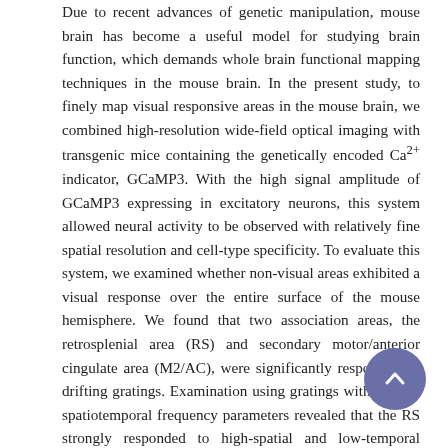Due to recent advances of genetic manipulation, mouse brain has become a useful model for studying brain function, which demands whole brain functional mapping techniques in the mouse brain. In the present study, to finely map visual responsive areas in the mouse brain, we combined high-resolution wide-field optical imaging with transgenic mice containing the genetically encoded Ca2+ indicator, GCaMP3. With the high signal amplitude of GCaMP3 expressing in excitatory neurons, this system allowed neural activity to be observed with relatively fine spatial resolution and cell-type specificity. To evaluate this system, we examined whether non-visual areas exhibited a visual response over the entire surface of the mouse hemisphere. We found that two association areas, the retrosplenial area (RS) and secondary motor/anterior cingulate area (M2/AC), were significantly responsive to drifting gratings. Examination using gratings with distinct spatiotemporal frequency parameters revealed that the RS strongly responded to high-spatial and low-temporal frequency gratings. The M2/AC exhibited a response property similar to that of the RS, though it was not statistically significant. Finally, we performed cellular imaging using two-photon microscopy to examine orientation and direction selectivity of individual neurons, and found that a minority of neurons in the RS clearly showed visual responses